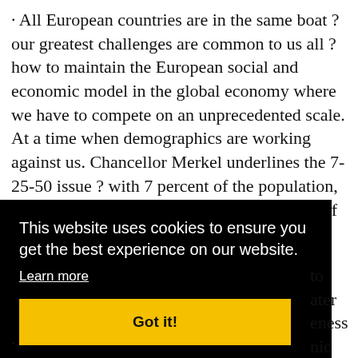· All European countries are in the same boat ? our greatest challenges are common to us all ? how to maintain the European social and economic model in the global economy where we have to compete on an unprecedented scale. At a time when demographics are working against us. Chancellor Merkel underlines the 7-25-50 issue ? with 7 percent of the population, 25 percent of the production and 50 percent of global welfare
[Figure (screenshot): Cookie consent overlay on a dark black background. Text reads: 'This website uses cookies to ensure you get the best experience on our website.' with a 'Learn more' link and a yellow 'Got it!' button. Partially visible text to the right: 'to', 'ater', 'eness', 'nic and'.]
· (partial bottom text)